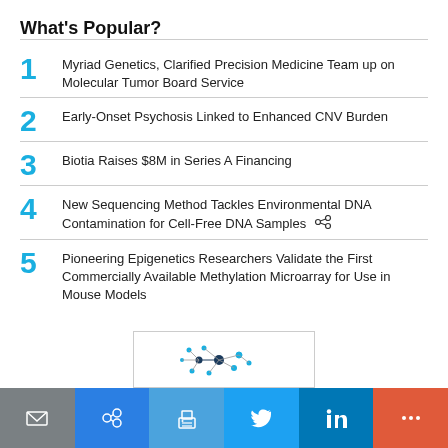What's Popular?
1  Myriad Genetics, Clarified Precision Medicine Team up on Molecular Tumor Board Service
2  Early-Onset Psychosis Linked to Enhanced CNV Burden
3  Biotia Raises $8M in Series A Financing
4  New Sequencing Method Tackles Environmental DNA Contamination for Cell-Free DNA Samples
5  Pioneering Epigenetics Researchers Validate the First Commercially Available Methylation Microarray for Use in Mouse Models
[Figure (illustration): Network graph diagram showing connected nodes]
[Figure (infographic): Footer toolbar with mail, link, print, Twitter, LinkedIn, and more icons]